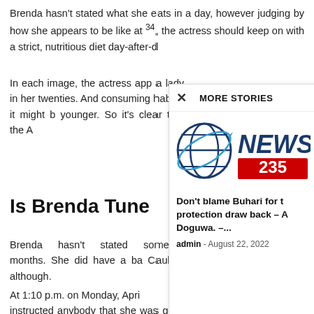Brenda hasn't stated what she eats in a day, however judging by how she appears to be like at 34, the actress should keep on with a strict, nutritious diet day-after-d
In each image, the actress app a lady in her twenties. And consuming habits, it might b younger. So it's clear that the A
Is Brenda Tune
Brenda hasn't stated somethin months. She did have a ba Caulkin, although.
At 1:10 p.m. on Monday, Apri boy. Tune by no means instructed anybody that she was going to have a child. She saved the information to herself. The journal
[Figure (logo): News235 logo with globe icon]
Don't blame Buhari for t protection draw back – A Doguwa. –...
admin - August 22, 2022